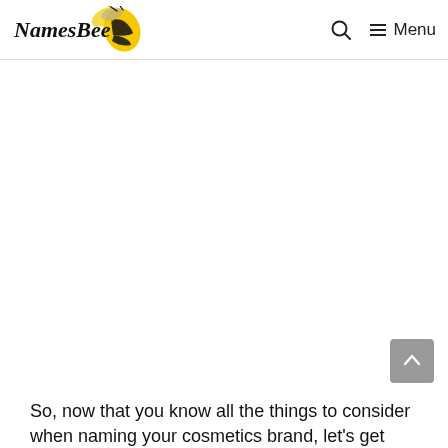NamesBee — Menu
[Figure (other): Large blank white advertisement/content area in the middle of the page]
So, now that you know all the things to consider when naming your cosmetics brand, let's get